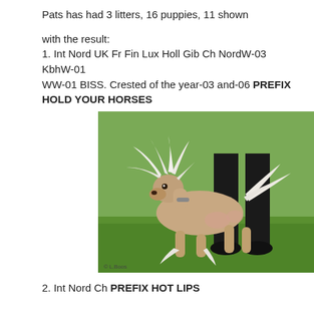Pats has had 3 litters, 16 puppies, 11 shown
with the result:
1. Int Nord UK Fr Fin Lux Holl Gib Ch NordW-03 KbhW-01 WW-01 BISS. Crested of the year-03 and-06 PREFIX HOLD YOUR HORSES
[Figure (photo): Chinese Crested dog standing on grass at a dog show, with handler visible in background. White feathered hair, mostly hairless body. Photo credit: © L.Boos]
2. Int Nord Ch PREFIX HOT LIPS